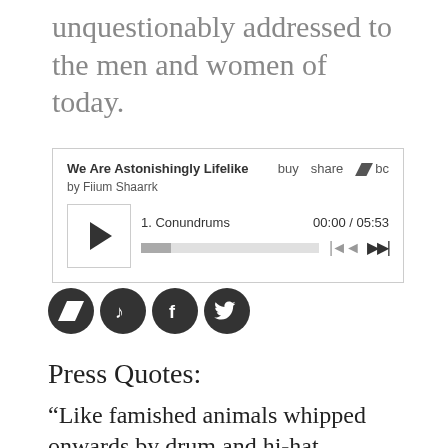unquestionably addressed to the men and women of today.
[Figure (screenshot): Bandcamp music player widget for 'We Are Astonishingly Lifelike' by Fiium Shaarrk, showing track 1 Conundrums, time 00:00 / 05:53, with play button, progress bar, and navigation controls. Options: buy, share, bc logo.]
[Figure (infographic): Four circular social media icon buttons in dark gray/black: Bandcamp, music/iTunes, Facebook, Twitter]
Press Quotes:
“Like famished animals whipped onwards by drum and hi-hat, processed